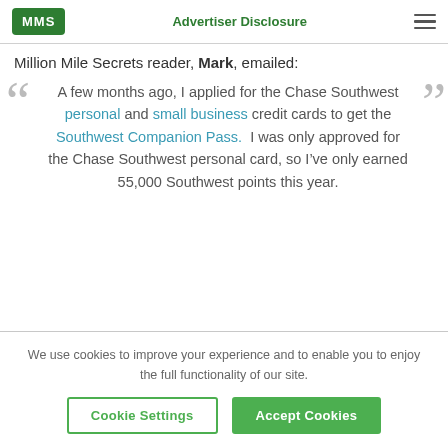MMS | Advertiser Disclosure
Million Mile Secrets reader, Mark, emailed:
A few months ago, I applied for the Chase Southwest personal and small business credit cards to get the Southwest Companion Pass.  I was only approved for the Chase Southwest personal card, so I've only earned 55,000 Southwest points this year.
We use cookies to improve your experience and to enable you to enjoy the full functionality of our site.
Cookie Settings
Accept Cookies